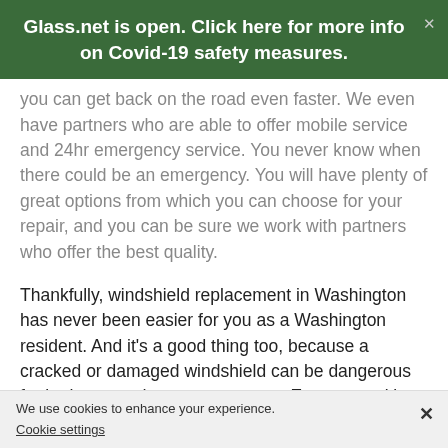Glass.net is open. Click here for more info on Covid-19 safety measures.
you can get back on the road even faster. We even have partners who are able to offer mobile service and 24hr emergency service. You never know when there could be an emergency. You will have plenty of great options from which you can choose for your repair, and you can be sure we work with partners who offer the best quality.
Thankfully, windshield replacement in Washington has never been easier for you as a Washington resident. And it's a good thing too, because a cracked or damaged windshield can be dangerous for both you and your passengers. Even more, it's entirely possible that driving with a damaged windshield in Missouri is against the law.
Avoid injury or potential legal trouble by having your windshield repaired in Washington, Missouri, today. Our
We use cookies to enhance your experience. Cookie settings